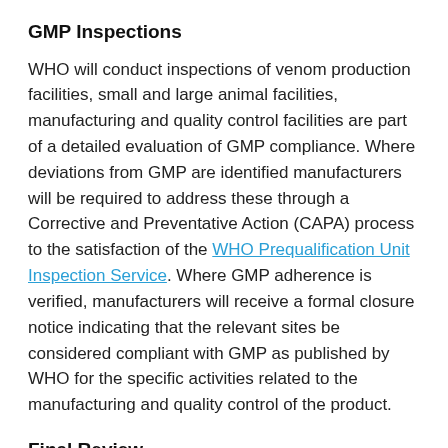GMP Inspections
WHO will conduct inspections of venom production facilities, small and large animal facilities, manufacturing and quality control facilities are part of a detailed evaluation of GMP compliance. Where deviations from GMP are identified manufacturers will be required to address these through a Corrective and Preventative Action (CAPA) process to the satisfaction of the WHO Prequalification Unit Inspection Service. Where GMP adherence is verified, manufacturers will receive a formal closure notice indicating that the relevant sites be considered compliant with GMP as published by WHO for the specific activities related to the manufacturing and quality control of the product.
Final Review
All the findings will be subject to final review by the dossier review panel to determine if on balance they demonstrate a reasonable likelihood that the quality,